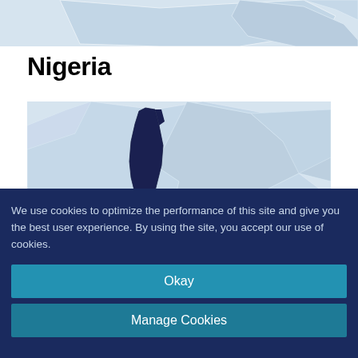[Figure (map): Partial map showing African country outlines in light blue/grey tones - top portion cropped]
Nigeria
[Figure (map): Map of Nigeria with a highlighted dark navy region (possibly a specific state or zone) in the center-left area, surrounded by light blue country/region outlines]
We use cookies to optimize the performance of this site and give you the best user experience. By using the site, you accept our use of cookies.
Okay
Manage Cookies